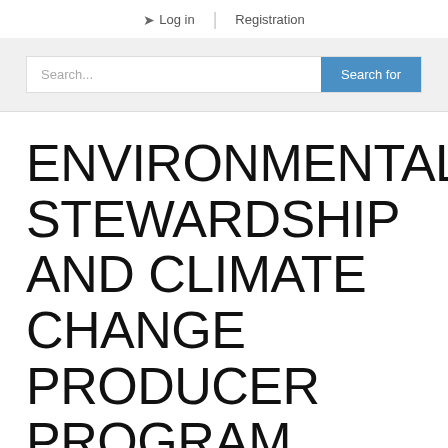Log in | Registration
Search...
ENVIRONMENTAL STEWARDSHIP AND CLIMATE CHANGE PRODUCER PROGRAM TERMS AND CONDITIONS